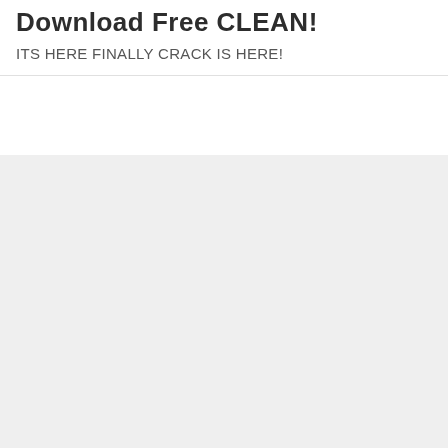Download Free CLEAN!
ITS HERE FINALLY CRACK IS HERE!